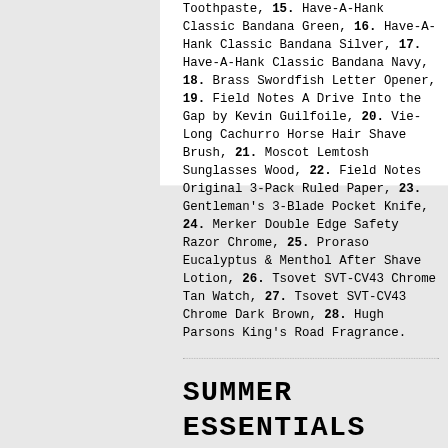Toothpaste, 15. Have-A-Hank Classic Bandana Green, 16. Have-A-Hank Classic Bandana Silver, 17. Have-A-Hank Classic Bandana Navy, 18. Brass Swordfish Letter Opener, 19. Field Notes A Drive Into the Gap by Kevin Guilfoile, 20. Vie-Long Cachurro Horse Hair Shave Brush, 21. Moscot Lemtosh Sunglasses Wood, 22. Field Notes Original 3-Pack Ruled Paper, 23. Gentleman's 3-Blade Pocket Knife, 24. Merker Double Edge Safety Razor Chrome, 25. Proraso Eucalyptus & Menthol After Shave Lotion, 26. Tsovet SVT-CV43 Chrome Tan Watch, 27. Tsovet SVT-CV43 Chrome Dark Brown, 28. Hugh Parsons King's Road Fragrance.
SUMMER ESSENTIALS FOR DAD